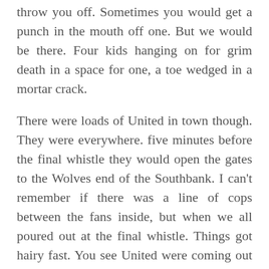throw you off. Sometimes you would get a punch in the mouth off one. But we would be there. Four kids hanging on for grim death in a space for one, a toe wedged in a mortar crack.
There were loads of United in town though. They were everywhere. five minutes before the final whistle they would open the gates to the Wolves end of the Southbank. I can't remember if there was a line of cops between the fans inside, but when we all poured out at the final whistle. Things got hairy fast. You see United were coming out too and we met, right by the subway. It kicked off big time. United were filling the slope up to the Uni art block and they poured down when we arrived. They couldn't care less these United fans and just flowed in this mass towards Wolves who were